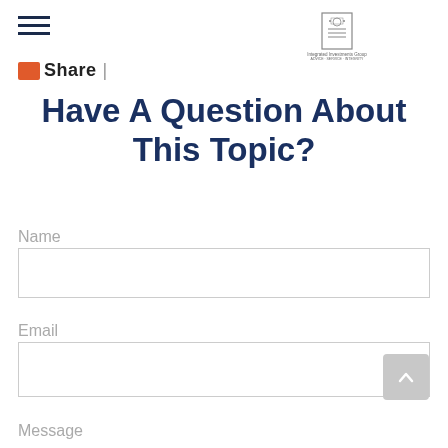[Figure (logo): Integrated Investments Group logo with text 'ADVICE · SERVICE · INTEGRITY']
Share |
Have A Question About This Topic?
Name
Email
Message